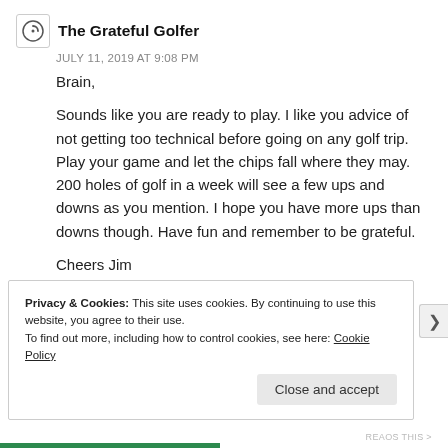The Grateful Golfer
JULY 11, 2019 AT 9:08 PM
Brain,

Sounds like you are ready to play. I like you advice of not getting too technical before going on any golf trip. Play your game and let the chips fall where they may. 200 holes of golf in a week will see a few ups and downs as you mention. I hope you have more ups than downs though. Have fun and remember to be grateful.

Cheers Jim
Privacy & Cookies: This site uses cookies. By continuing to use this website, you agree to their use.
To find out more, including how to control cookies, see here: Cookie Policy
Close and accept